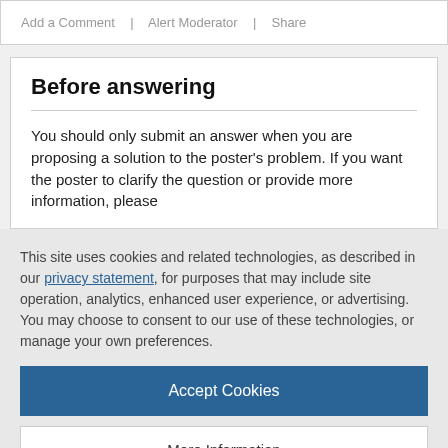Add a Comment  |  Alert Moderator  |  Share
Before answering
You should only submit an answer when you are proposing a solution to the poster's problem. If you want the poster to clarify the question or provide more information, please
This site uses cookies and related technologies, as described in our privacy statement, for purposes that may include site operation, analytics, enhanced user experience, or advertising. You may choose to consent to our use of these technologies, or manage your own preferences.
Accept Cookies
More Information
Privacy Policy | Powered by: TrustArc
You must be Logged in to submit an answer